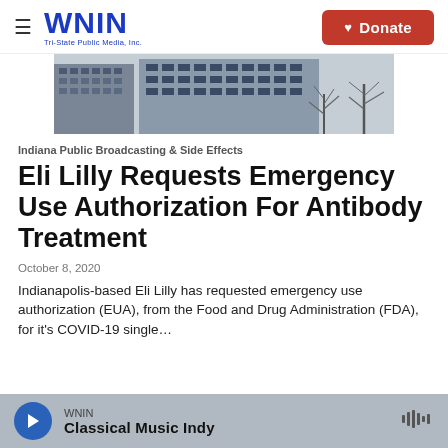WNIN Tri-State Public Media, Inc. | Donate
[Figure (photo): Exterior photo of a multi-story government or office building with bare trees in front, gray sky]
Indiana Public Broadcasting & Side Effects
Eli Lilly Requests Emergency Use Authorization For Antibody Treatment
October 8, 2020
Indianapolis-based Eli Lilly has requested emergency use authorization (EUA), from the Food and Drug Administration (FDA), for it's COVID-19 single…
WNIN Classical Music Indy